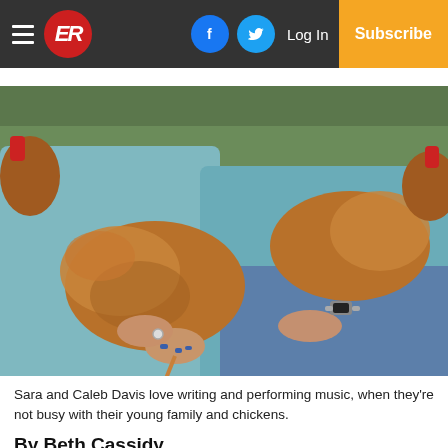ER | Log In | Subscribe
[Figure (photo): Two people holding chickens, their torsos visible from waist up wearing gray and teal shirts, with a green grassy background]
Sara and Caleb Davis love writing and performing music, when they're not busy with their young family and chickens.
By Beth Cassidy